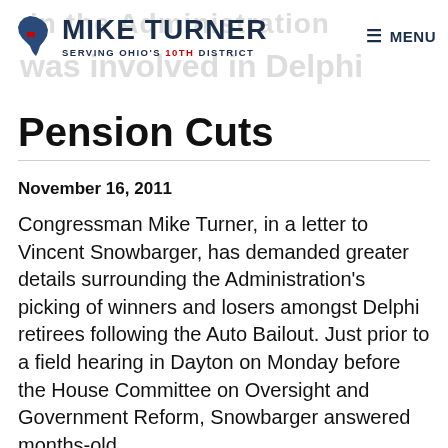MIKE TURNER – SERVING OHIO'S 10TH DISTRICT
Pension Cuts
November 16, 2011
Congressman Mike Turner, in a letter to Vincent Snowbarger, has demanded greater details surrounding the Administration's picking of winners and losers amongst Delphi retirees following the Auto Bailout. Just prior to a field hearing in Dayton on Monday before the House Committee on Oversight and Government Reform, Snowbarger answered months-old